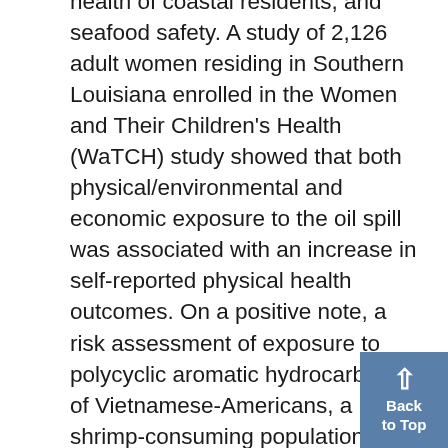health of coastal residents, and seafood safety. A study of 2,126 adult women residing in Southern Louisiana enrolled in the Women and Their Children's Health (WaTCH) study showed that both physical/environmental and economic exposure to the oil spill was associated with an increase in self-reported physical health outcomes. On a positive note, a risk assessment of exposure to polycyclic aromatic hydrocarbons of Vietnamese-Americans, a large shrimp-consuming population in the area, showed no acute health risks or excess cancers, reducing concerns about shrimp consumption following the DWH spill.
Following the spill of 10,000 gallons of the chemical 4-Methylcyclohexanemethanol (MCHM) into the Elk River upstream of the municipal water intake of Charleston, West Virginia, NIEHS researchers we...